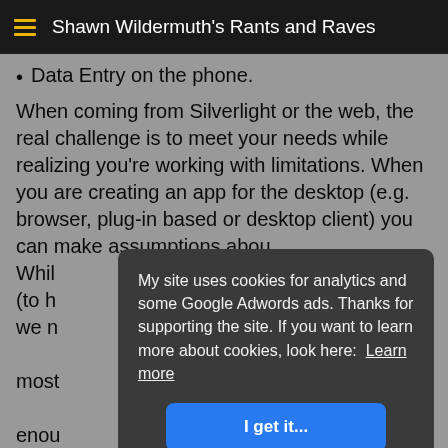Shawn Wildermuth's Rants and Raves
Data Entry on the phone.
When coming from Silverlight or the web, the real challenge is to meet your needs while realizing you're working with limitations. When you are creating an app for the desktop (e.g. browser, plug-in based or desktop client) you can make assumptions abou... Whil... (to h... we n... most... enou...
My site uses cookies for analytics and some Google Adwords ads. Thanks for supporting the site. If you want to learn more about cookies, look here: Learn more
I get it...